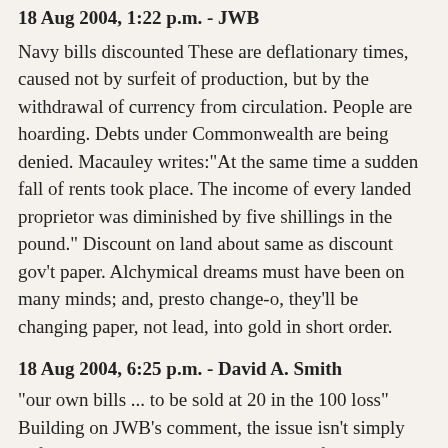18 Aug 2004, 1:22 p.m. - JWB
Navy bills discounted These are deflationary times, caused not by surfeit of production, but by the withdrawal of currency from circulation. People are hoarding. Debts under Commonwealth are being denied. Macauley writes:"At the same time a sudden fall of rents took place. The income of every landed proprietor was diminished by five shillings in the pound." Discount on land about same as discount gov't paper. Alchymical dreams must have been on many minds; and, presto change-o, they'll be changing paper, not lead, into gold in short order.
18 Aug 2004, 6:25 p.m. - David A. Smith
"our own bills ... to be sold at 20 in the 100 loss" Building on JWB's comment, the issue isn't simply deflation, but *credit risk.* Sovereigns frequently repudiated their debts (the Spanish Hapsburgs went bust), leaving paper worthless. There is no Bank of England. There is no monetary policy. There is no sound currency other than tangibles (gold, silver) based on scarcity. There is only a